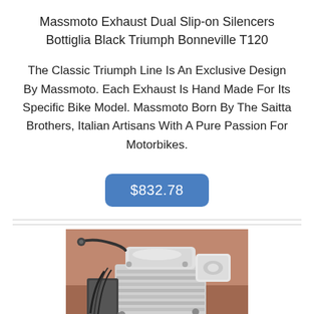Massmoto Exhaust Dual Slip-on Silencers Bottiglia Black Triumph Bonneville T120
The Classic Triumph Line Is An Exclusive Design By Massmoto. Each Exhaust Is Hand Made For Its Specific Bike Model. Massmoto Born By The Saitta Brothers, Italian Artisans With A Pure Passion For Motorbikes.
$832.78
[Figure (photo): Close-up photograph of a Triumph motorcycle engine and components against a brown/terracotta background, showing chrome and black metal engine parts with fins and mechanical details.]